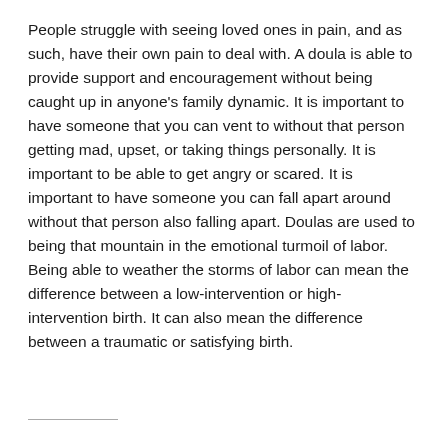People struggle with seeing loved ones in pain, and as such, have their own pain to deal with. A doula is able to provide support and encouragement without being caught up in anyone's family dynamic. It is important to have someone that you can vent to without that person getting mad, upset, or taking things personally. It is important to be able to get angry or scared. It is important to have someone you can fall apart around without that person also falling apart. Doulas are used to being that mountain in the emotional turmoil of labor. Being able to weather the storms of labor can mean the difference between a low-intervention or high-intervention birth. It can also mean the difference between a traumatic or satisfying birth.